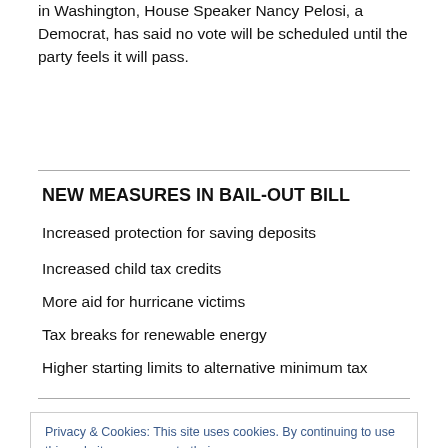in Washington, House Speaker Nancy Pelosi, a Democrat, has said no vote will be scheduled until the party feels it will pass.
NEW MEASURES IN BAIL-OUT BILL
Increased protection for saving deposits
Increased child tax credits
More aid for hurricane victims
Tax breaks for renewable energy
Higher starting limits to alternative minimum tax
Privacy & Cookies: This site uses cookies. By continuing to use this website, you agree to their use. To find out more, including how to control cookies, see here: Cookie Policy
228 votes to 205 – legislators had concerns about both the